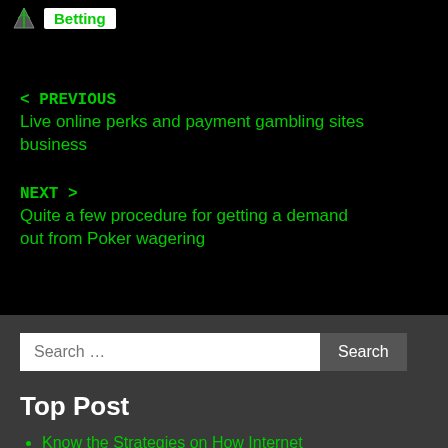[Figure (logo): Small leaf/feather icon next to 'Betting' label on white background]
< PREVIOUS
Live online perks and payment gambling sites business
NEXT >
Quite a few procedure for getting a demand out from Poker wagering
Search …
Top Post
Know the Strategies on How Internet